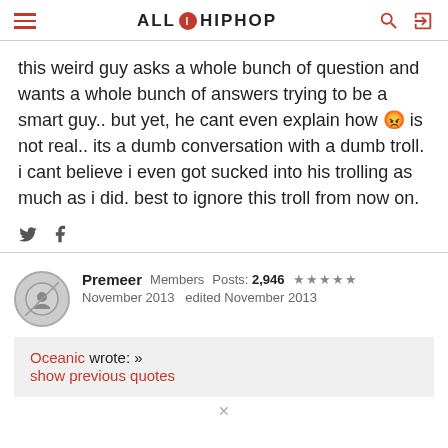ALLHIPHOP
this weird guy asks a whole bunch of question and wants a whole bunch of answers trying to be a smart guy.. but yet, he cant even explain how 😡 is not real.. its a dumb conversation with a dumb troll. i cant believe i even got sucked into his trolling as much as i did. best to ignore this troll from now on.
Premeer  Members  Posts: 2,946  ★★★★★
November 2013  edited November 2013
Oceanic wrote: »
show previous quotes